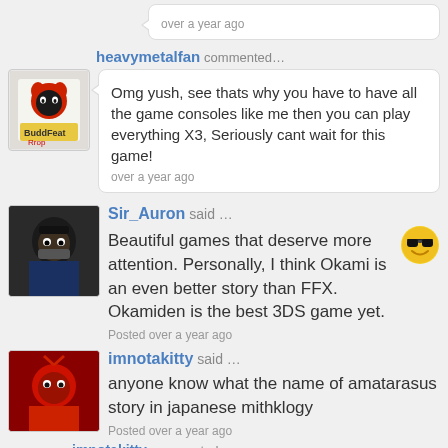over a year ago
heavymetalfan commented…
Omg yush, see thats why you have to have all the game consoles like me then you can play everything X3, Seriously cant wait for this game!
over a year ago
Sir_Auron said …
Beautiful games that deserve more attention. Personally, I think Okami is an even better story than FFX. Okamiden is the best 3DS game yet.
Posted over a year ago
imnotakitty said …
anyone know what the name of amatarasus story in japanese mithklogy
Posted over a year ago
imnotakitty commented…
mithology spelled it wrong
over a year ago